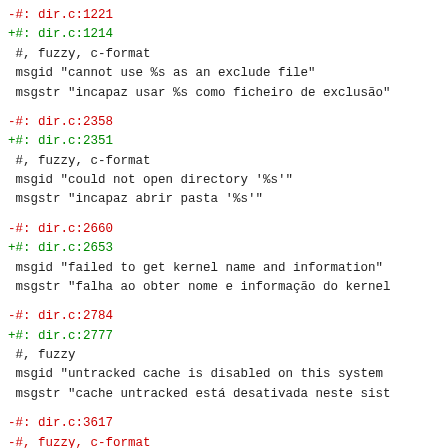-#: dir.c:1221
+#: dir.c:1214
 #, fuzzy, c-format
 msgid "cannot use %s as an exclude file"
 msgstr "incapaz usar %s como ficheiro de exclusão"
-#: dir.c:2358
+#: dir.c:2351
 #, fuzzy, c-format
 msgid "could not open directory '%s'"
 msgstr "incapaz abrir pasta '%s'"
-#: dir.c:2660
+#: dir.c:2653
 msgid "failed to get kernel name and information"
 msgstr "falha ao obter nome e informação do kernel
-#: dir.c:2784
+#: dir.c:2777
 #, fuzzy
 msgid "untracked cache is disabled on this system
 msgstr "cache untracked está desativada neste sist
-#: dir.c:3617
-#, fuzzy, c-format
+#: dir.c:3610
+#, c-format
 msgid "index file corrupt in repo %s"
 msgstr ""